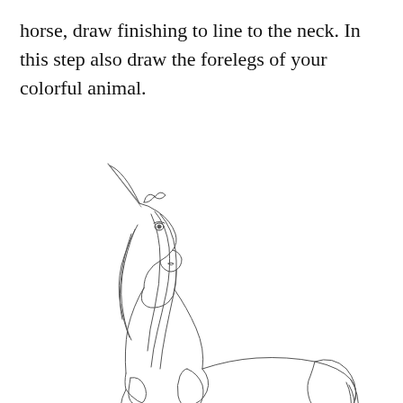horse, draw finishing to line to the neck. In this step also draw the forelegs of your colorful animal.
[Figure (illustration): A pencil sketch illustration of a unicorn shown from the front-left side, featuring the horn, flowing mane, detailed head with eye and nostril, neck, body, hindquarters, tail, and forelegs partially drawn.]